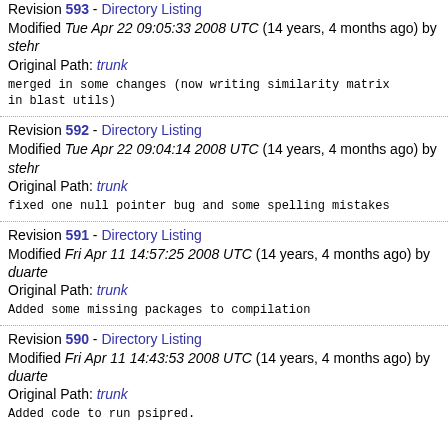Revision 593 - Directory Listing Modified Tue Apr 22 09:05:33 2008 UTC (14 years, 4 months ago) by stehr Original Path: trunk
merged in some changes (now writing similarity matrix in blast utils)
Revision 592 - Directory Listing Modified Tue Apr 22 09:04:14 2008 UTC (14 years, 4 months ago) by stehr Original Path: trunk
fixed one null pointer bug and some spelling mistakes
Revision 591 - Directory Listing Modified Fri Apr 11 14:57:25 2008 UTC (14 years, 4 months ago) by duarte Original Path: trunk
Added some missing packages to compilation
Revision 590 - Directory Listing Modified Fri Apr 11 14:43:53 2008 UTC (14 years, 4 months ago) by duarte Original Path: trunk
Added code to run psipred.